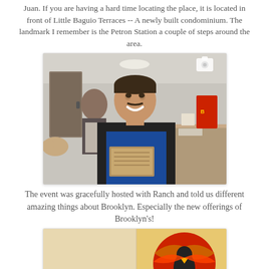Juan. If you are having a hard time locating the place, it is located in front of Little Baguio Terraces -- A newly built condominium. The landmark I remember is the Petron Station a couple of steps around the area.
[Figure (photo): A smiling man in a black jacket over a blue shirt holding a wooden menu/board inside a restaurant. Another person in an apron is visible in the background.]
The event was gracefully hosted with Ranch and told us different amazing things about Brooklyn. Especially the new offerings of Brooklyn's!
[Figure (photo): Partial view of a person with a colorful red and black logo/mural visible on the wall behind them, appearing to be inside the Brooklyn's restaurant.]